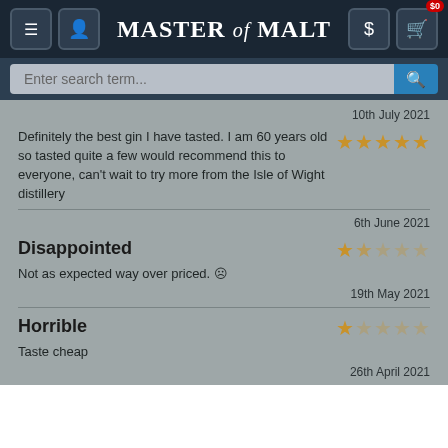[Figure (screenshot): Master of Malt website navigation bar with menu icon, user icon, logo, dollar icon, and cart icon showing $0 badge]
[Figure (screenshot): Search bar with placeholder text 'Enter search term...' and search button]
10th July 2021
Definitely the best gin I have tasted. I am 60 years old so tasted quite a few would recommend this to everyone, can't wait to try more from the Isle of Wight distillery
6th June 2021
Disappointed
Not as expected way over priced. ☹
19th May 2021
Horrible
Taste cheap
26th April 2021